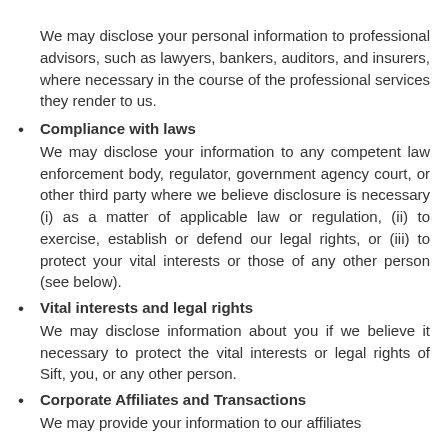We may disclose your personal information to professional advisors, such as lawyers, bankers, auditors, and insurers, where necessary in the course of the professional services they render to us.
Compliance with laws
We may disclose your information to any competent law enforcement body, regulator, government agency court, or other third party where we believe disclosure is necessary (i) as a matter of applicable law or regulation, (ii) to exercise, establish or defend our legal rights, or (iii) to protect your vital interests or those of any other person (see below).
Vital interests and legal rights
We may disclose information about you if we believe it necessary to protect the vital interests or legal rights of Sift, you, or any other person.
Corporate Affiliates and Transactions
We may provide your information to our affiliates